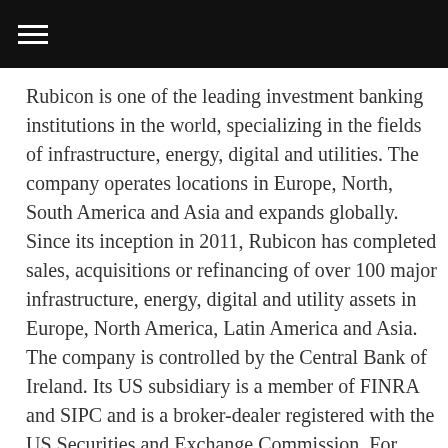≡
Rubicon is one of the leading investment banking institutions in the world, specializing in the fields of infrastructure, energy, digital and utilities. The company operates locations in Europe, North, South America and Asia and expands globally. Since its inception in 2011, Rubicon has completed sales, acquisitions or refinancing of over 100 major infrastructure, energy, digital and utility assets in Europe, North America, Latin America and Asia. The company is controlled by the Central Bank of Ireland. Its US subsidiary is a member of FINRA and SIPC and is a broker-dealer registered with the US Securities and Exchange Commission. For more information about the company, visit: www.rubiconcapitaladvisors.com. Follow Rubicon